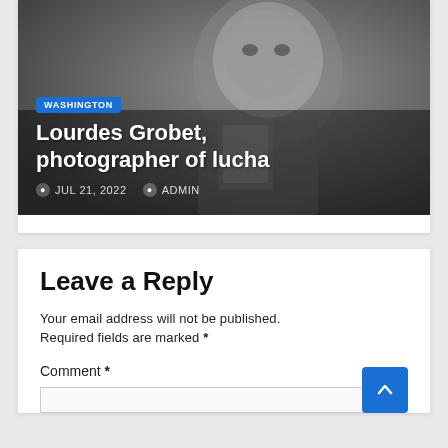[Figure (photo): Black and white photo of a masked lucha libre wrestler holding a small mirror, with overlaid text showing category tag WASHINGTON, article title, date and author]
Lourdes Grobet, photographer of lucha
JUL 21, 2022  ADMIN
Leave a Reply
Your email address will not be published.
Required fields are marked *
Comment *